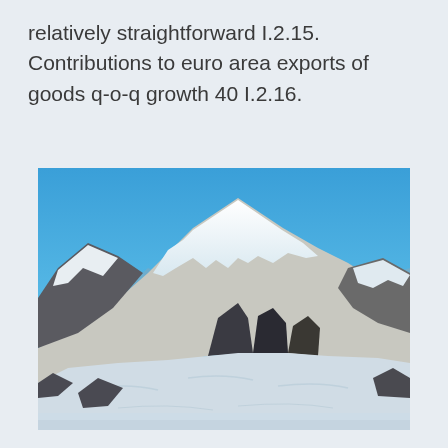relatively straightforward I.2.15. Contributions to euro area exports of goods q-o-q growth 40 I.2.16.
[Figure (photo): Photograph of snow-covered mountain peaks against a clear blue sky. The mountains have rocky outcrops with heavy snow coverage on the slopes and ridges.]